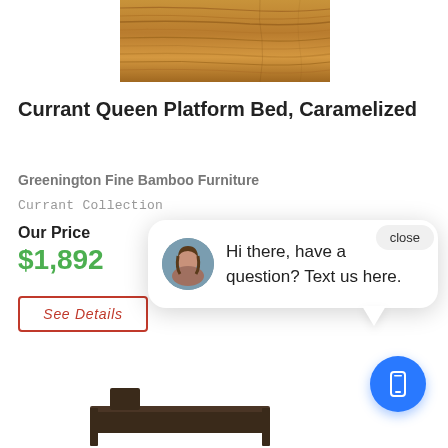[Figure (photo): Close-up of caramelized bamboo wood grain texture, warm golden-brown tones]
Currant Queen Platform Bed, Caramelized
Greenington Fine Bamboo Furniture
Currant Collection
Our Price
$1,892
See Details
close
Hi there, have a question? Text us here.
[Figure (photo): Dark brown wooden bed frame partially visible at bottom of page]